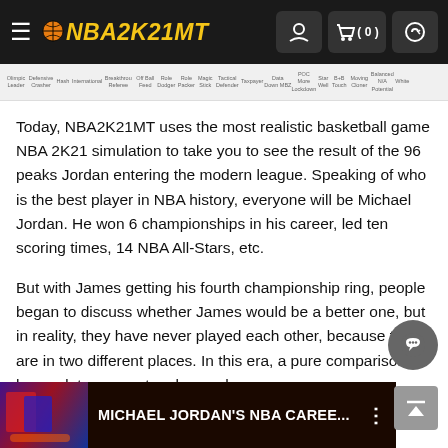NBA2K21MT
[Figure (screenshot): Navigation sub-menu bar with small category labels including Olimpic, Defensive, Hash, International, Breakthrough, Off Ball, Role, Role, Magic, Tactical, Taxpayer, Data, POC, Star, B+B, Moving, Balanced, N/A, White Leader, Crasher, Referee, Feed, Dodger, Packer, Stick, Defender, Down MBZ, More Lockdown, Well, Touch, Corner, Potential]
Today, NBA2K21MT uses the most realistic basketball game NBA 2K21 simulation to take you to see the result of the 96 peaks Jordan entering the modern league. Speaking of who is the best player in NBA history, everyone will be Michael Jordan. He won 6 championships in his career, led ten scoring times, 14 NBA All-Stars, etc.
But with James getting his fourth championship ring, people began to discuss whether James would be a better one, but in reality, they have never played each other, because they are in two different places. In this era, a pure comparison honor data may not make much sense.
[Figure (screenshot): Video thumbnail showing MICHAEL JORDAN'S NBA CAREE... with basketball players in background]